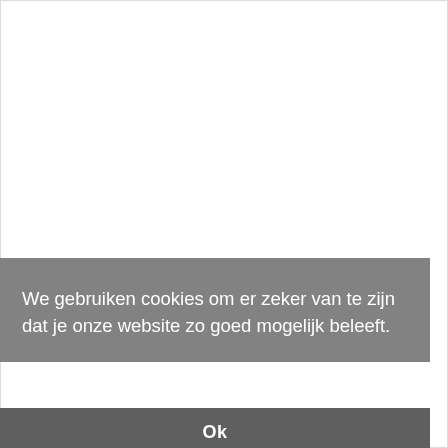[Figure (illustration): Product image of Neovo X-19E LCD LED Monitor — white-framed monitor with black screen, on a white stand]
Neovo X-19E LCD LED Monitor, 19"
1280x1024, 250cd/m2, 1000:1
€ 518,68
We gebruiken cookies om er zeker van te zijn dat je onze website zo goed mogelijk beleeft.
Ok